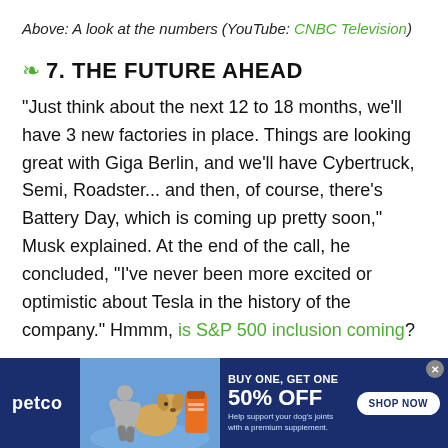Above: A look at the numbers (YouTube: CNBC Television)
7. THE FUTURE AHEAD
"Just think about the next 12 to 18 months, we'll have 3 new factories in place. Things are looking great with Giga Berlin, and we'll have Cybertruck, Semi, Roadster... and then, of course, there's Battery Day, which is coming up pretty soon," Musk explained. At the end of the call, he concluded, "I've never been more excited or optimistic about Tesla in the history of the company." Hmmm, is S&P 500 inclusion coming?
[Figure (other): Petco advertisement banner: BUY ONE, GET ONE 50% OFF on dog joint supplement. Shows woman with golden retriever dog. SHOP NOW button.]